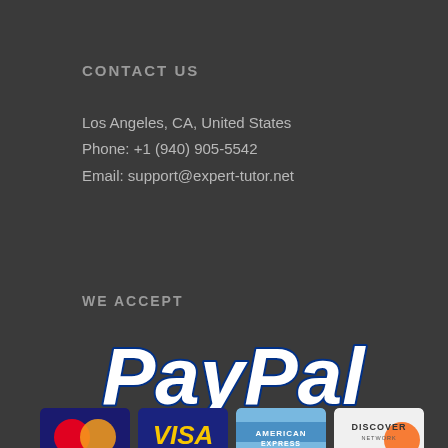CONTACT US
Los Angeles, CA, United States
Phone: +1 (940) 905-5542
Email: support@expert-tutor.net
WE ACCEPT
[Figure (logo): PayPal logo in white bold italic text with dark blue outline]
[Figure (logo): Payment card logos: MasterCard, VISA, American Express, Discover]